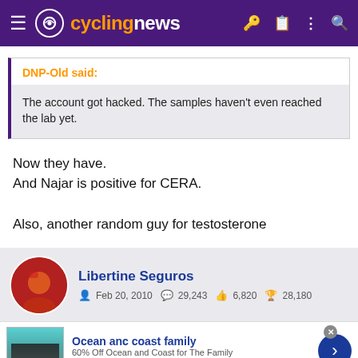cyclingnews
DNP-Old said:
The account got hacked. The samples haven't even reached the lab yet.
Now they have.
And Najar is positive for CERA.

Also, another random guy for testosterone
Libertine Seguros  Feb 20, 2010  29,243  6,820  28,180
[Figure (other): Advertisement banner: Ocean anc coast family, 60% Off Ocean and Coast for The Family, www.belk.com]